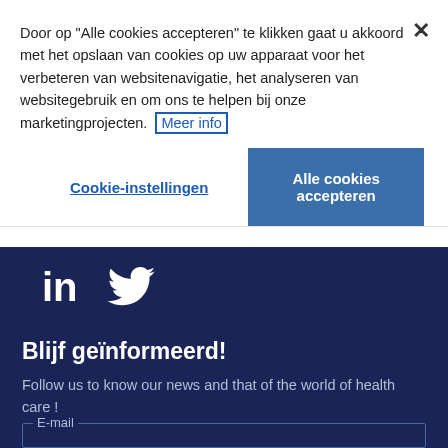Door op "Alle cookies accepteren" te klikken gaat u akkoord met het opslaan van cookies op uw apparaat voor het verbeteren van websitenavigatie, het analyseren van websitegebruik en om ons te helpen bij onze marketingprojecten.  Meer info
Cookie-instellingen
Alle cookies accepteren
[Figure (other): LinkedIn and Twitter social media icons in white on dark navy background]
Blijf geïnformeerd!
Follow us to know our news and that of the world of health care !
E-mail